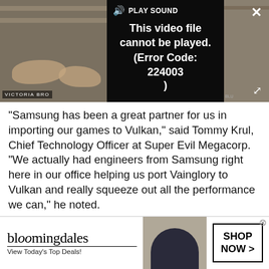[Figure (screenshot): Video player showing error message 'This video file cannot be played. (Error Code: 224003)' with PLAY SOUND control, close button, and expand button. Background shows a partial thumbnail of what appears to be a library or bookshelf scene with 'VICTORIA BRO' text visible.]
“Samsung has been a great partner for us in importing our games to Vulkan,” said Tommy Krul, Chief Technology Officer at Super Evil Megacorp. “We actually had engineers from Samsung right here in our office helping us port Vainglory to Vulkan and really squeeze out all the performance we can,” he noted.
The makers of Vainglory also said that the Vulkan version of the game received a 30 percent increase in
[Figure (screenshot): Bloomingdale's advertisement banner: 'bloomingdales View Today’s Top Deals!' with a woman in a hat and 'SHOP NOW >' button.]